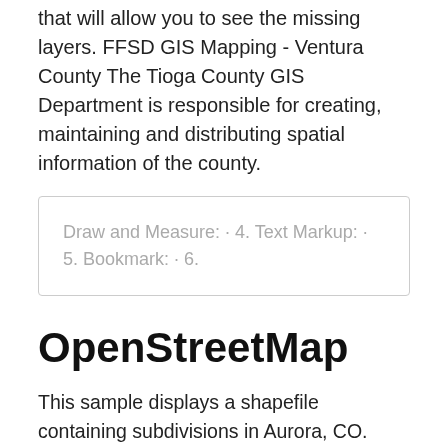that will allow you to see the missing layers. FFSD GIS Mapping - Ventura County The Tioga County GIS Department is responsible for creating, maintaining and distributing spatial information of the county.
Draw and Measure: · 4. Text Markup: · 5. Bookmark: · 6.
OpenStreetMap
This sample displays a shapefile containing subdivisions in Aurora, CO. Additional information 2019-3-9 2020-8-22 · Creating a new shapefile. You can create new shapefiles in ArcCatalog or by